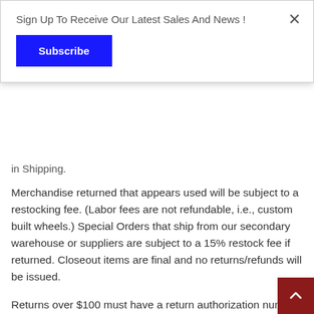Sign Up To Receive Our Latest Sales And News !
Subscribe
in Shipping.
Merchandise returned that appears used will be subject to a restocking fee. (Labor fees are not refundable, i.e., custom built wheels.) Special Orders that ship from our secondary warehouse or suppliers are subject to a 15% restock fee if returned. Closeout items are final and no returns/refunds will be issued.
Returns over $100 must have a return authorization number clearly marked on the outside of the package or the item will be refused. A return authorization number can be obtained by email at mail@trekclermont.com